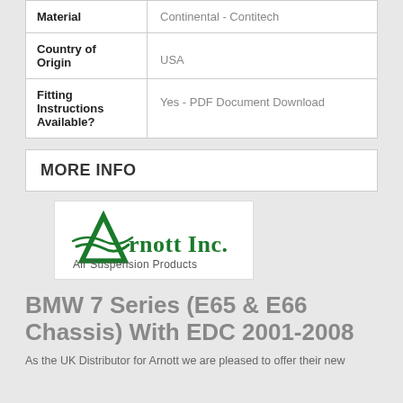| Attribute | Value |
| --- | --- |
| Material | Continental - Contitech |
| Country of Origin | USA |
| Fitting Instructions Available? | Yes - PDF Document Download |
MORE INFO
[Figure (logo): Arnott Inc. Air Suspension Products logo]
BMW 7 Series (E65 & E66 Chassis) With EDC 2001-2008
As the UK Distributor for Arnott we are pleased to offer their new